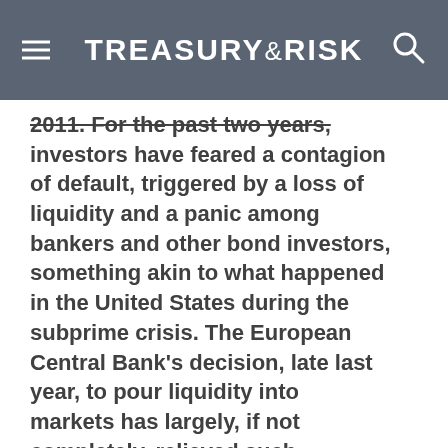TREASURY&RISK
2011. For the past two years, investors have feared a contagion of default, triggered by a loss of liquidity and a panic among bankers and other bond investors, something akin to what happened in the United States during the subprime crisis. The European Central Bank's decision, late last year, to pour liquidity into markets has largely, if not completely, relieved such concerns. The more recent investor fears have attached themselves to the continent's seemingly single-minded emphasis on fiscal austerity. Because such policies threaten to impose a vicious cycle on weaker nations,